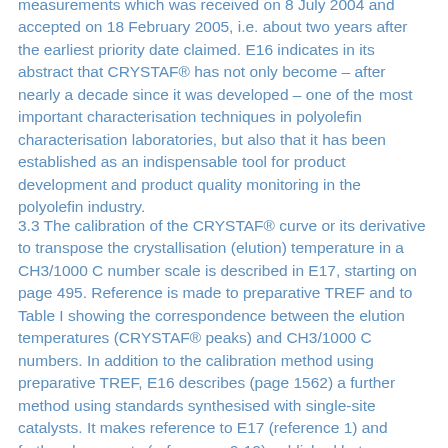measurements which was received on 8 July 2004 and accepted on 18 February 2005, i.e. about two years after the earliest priority date claimed. E16 indicates in its abstract that CRYSTAF® has not only become – after nearly a decade since it was developed – one of the most important characterisation techniques in polyolefin characterisation laboratories, but also that it has been established as an indispensable tool for product development and product quality monitoring in the polyolefin industry.
3.3 The calibration of the CRYSTAF® curve or its derivative to transpose the crystallisation (elution) temperature in a CH3/1000 C number scale is described in E17, starting on page 495. Reference is made to preparative TREF and to Table I showing the correspondence between the elution temperatures (CRYSTAF® peaks) and CH3/1000 C numbers. In addition to the calibration method using preparative TREF, E16 describes (page 1562) a further method using standards synthesised with single-site catalysts. It makes reference to E17 (reference 1) and further documents (references 9-12) published between 1999 and 2001, i.e. before the priority date of the patent in